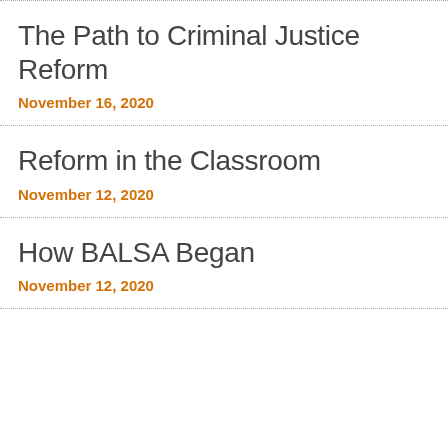The Path to Criminal Justice Reform
November 16, 2020
Reform in the Classroom
November 12, 2020
How BALSA Began
November 12, 2020